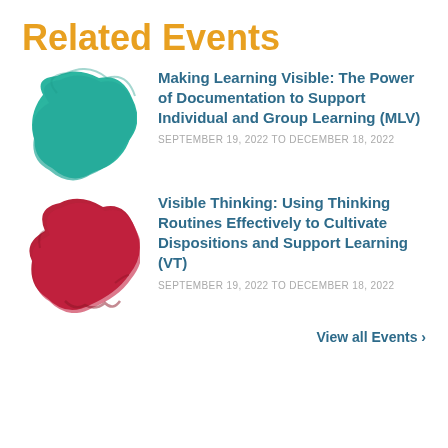Related Events
[Figure (illustration): Teal/green organic paint blob shape]
Making Learning Visible: The Power of Documentation to Support Individual and Group Learning (MLV)
SEPTEMBER 19, 2022 TO DECEMBER 18, 2022
[Figure (illustration): Dark red/crimson organic paint blob shape]
Visible Thinking: Using Thinking Routines Effectively to Cultivate Dispositions and Support Learning (VT)
SEPTEMBER 19, 2022 TO DECEMBER 18, 2022
View all Events ›